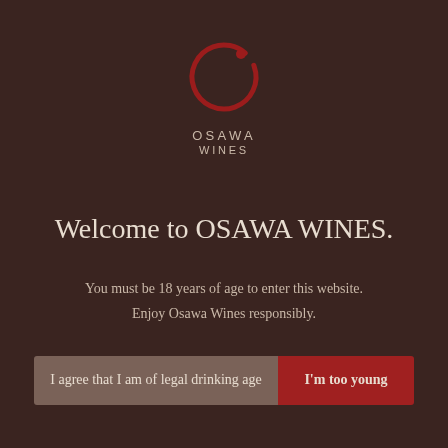[Figure (logo): Osawa Wines logo: a red brushstroke circle with a small red dot, with text OSAWA WINES below]
Welcome to OSAWA WINES.
You must be 18 years of age to enter this website. Enjoy Osawa Wines responsibly.
I agree that I am of legal drinking age
I'm too young